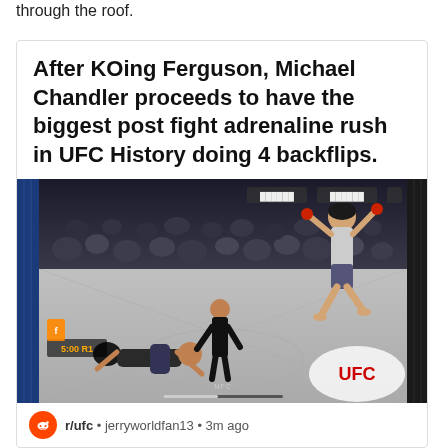through the roof.
After KOing Ferguson, Michael Chandler proceeds to have the biggest post fight adrenaline rush in UFC History doing 4 backflips.
[Figure (photo): Video screenshot of a UFC octagon showing a fighter performing a backflip in celebration while another fighter lies on the ground with a referee nearby. Dark background with crowd visible.]
r/ufc • jerryworldfan13 • 3m ago